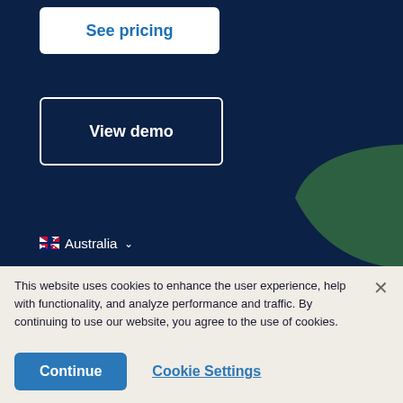[Figure (screenshot): Dark navy blue website background with a green arc shape in the bottom-right corner]
See pricing
View demo
Australia
This website uses cookies to enhance the user experience, help with functionality, and analyze performance and traffic. By continuing to use our website, you agree to the use of cookies.
Continue
Cookie Settings